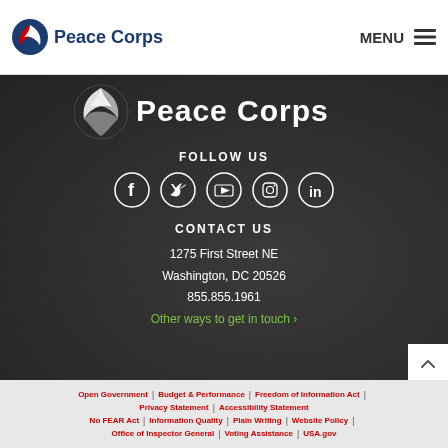Peace Corps | MENU
[Figure (logo): Peace Corps large white logo on dark background]
FOLLOW US
[Figure (other): Social media icons: Facebook, Twitter, YouTube, Instagram, LinkedIn]
CONTACT US
1275 First Street NE
Washington, DC 20526
855.855.1961
Other ways to get in touch >
Open Government | Budget & Performance | Freedom of Information Act | Privacy Statement | Accessibility Statement | No FEAR Act | Information Quality | Plain Writing | Website Policy | Office of Inspector General | Voting Assistance | USA.gov